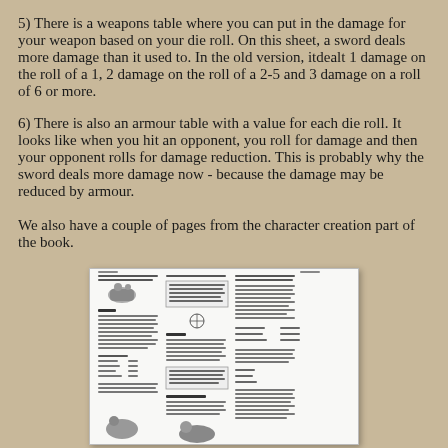5)  There is a weapons table where you can put in the damage for your weapon based on your die roll.  On this sheet, a sword deals more damage than it used to.  In the old version, itdealt 1 damage on the roll of a 1, 2 damage on the roll of a 2-5 and 3 damage on a roll of 6 or more.
6)  There is also an armour table with a value for each die roll.  It looks like when you hit an opponent, you roll for damage and then your opponent rolls for damage reduction.  This is probably why the sword deals more damage now - because the damage may be reduced by armour.
We also have a couple of pages from the character creation part of the book.
[Figure (photo): A photograph of a printed RPG character creation book page showing columns of text, tables, illustrations of creatures, and boxed rules text.]